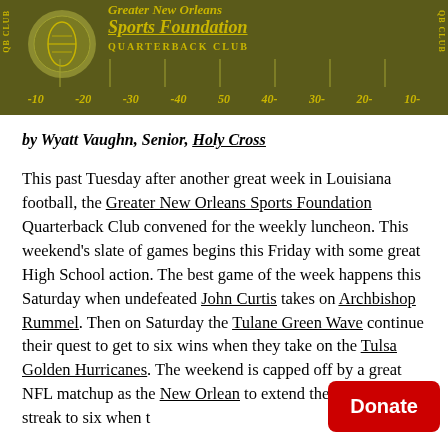[Figure (logo): Greater New Orleans Sports Foundation Quarterback Club banner with football field yard markers on olive/dark green background]
by Wyatt Vaughn, Senior, Holy Cross
This past Tuesday after another great week in Louisiana football, the Greater New Orleans Sports Foundation Quarterback Club convened for the weekly luncheon. This weekend's slate of games begins this Friday with some great High School action. The best game of the week happens this Saturday when undefeated John Curtis takes on Archbishop Rummel. Then on Saturday the Tulane Green Wave continue their quest to get to six wins when they take on the Tulsa Golden Hurricanes. The weekend is capped off by a great NFL matchup as the New Orleans [Saints] to extend their winning streak to six when t[hey face…]